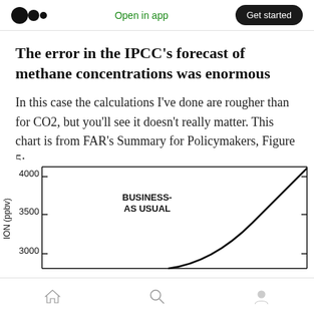Open in app   Get started
The error in the IPCC's forecast of methane concentrations was enormous
In this case the calculations I've done are rougher than for CO2, but you'll see it doesn't really matter. This chart is from FAR's Summary for Policymakers, Figure 5:
[Figure (continuous-plot): Partial view of a line chart showing methane concentration (ppbv) on the y-axis ranging from 3000 to 4000, with a curve labeled 'BUSINESS-AS USUAL' rising steeply from lower left toward upper right.]
Home  Search  Profile